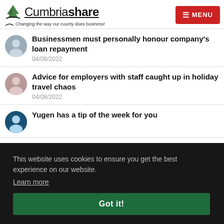Cumbriashare — Changing the way our county does business! | MENU
Businessmen must personally honour company's loan repayment
04/08/2022
Advice for employers with staff caught up in holiday travel chaos
04/08/2022
Yugen has a tip of the week for you
This website uses cookies to ensure you get the best experience on our website.
Learn more
Got it!